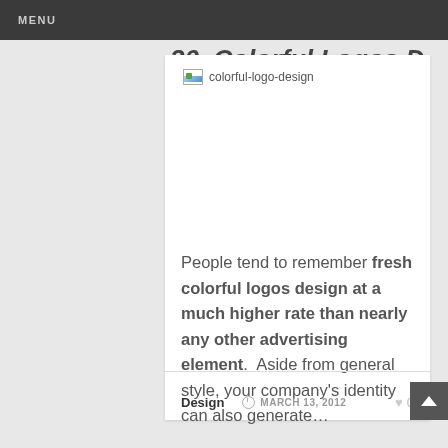MENU
20. Colorful Logos Design
[Figure (other): Broken image placeholder for colorful-logo-design]
People tend to remember fresh colorful logos design at a much higher rate than nearly any other advertising element. Aside from general style, your company's identity can also generate…
Design   MARCH 13, 2012   0